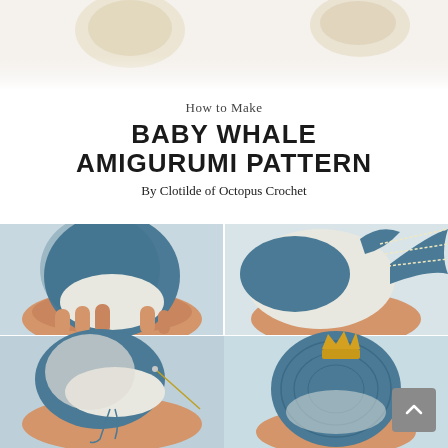[Figure (photo): Top banner photo showing seashells and white surface background]
How to Make Baby Whale Amigurumi Pattern
By Clotilde of Octopus Crochet
[Figure (photo): Four-panel photo grid showing steps of crocheting a baby whale amigurumi: top-left shows blue whale body with white belly being held, top-right shows white belly side view with tail, bottom-left shows sewing/assembly step with needle, bottom-right shows completed blue whale with gold crown detail on top]